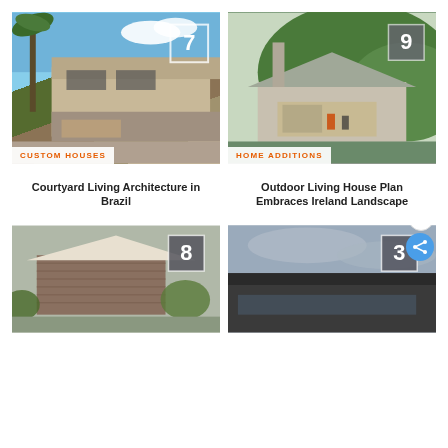[Figure (photo): Modern house with courtyard architecture in Brazil, featuring overhanging concrete slabs and palm trees, numbered 7]
Custom Houses
Courtyard Living Architecture in Brazil
[Figure (photo): Contemporary house addition in Ireland landscape with green hillside backdrop, numbered 9]
Home Additions
Outdoor Living House Plan Embraces Ireland Landscape
[Figure (photo): Angular modern house with wooden cladding exterior, numbered 8]
[Figure (photo): Modern dark house exterior with dark roofline against cloudy sky, numbered 3]